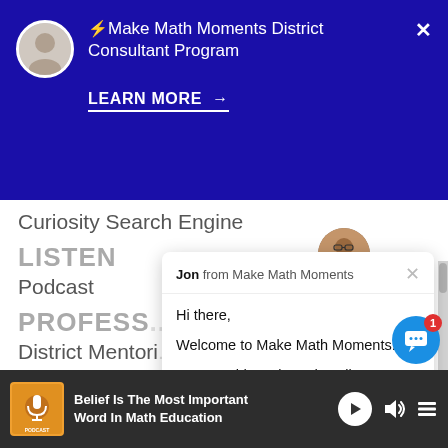[Figure (screenshot): Make Math Moments website screenshot with a blue promotional banner at top showing a person avatar, the text '⚡Make Math Moments District Consultant Program', and a 'LEARN MORE →' link with underline. Below the banner is website navigation content including 'Curiosity Search Engine', 'LISTEN', 'Podcast', 'PROFESS...' (partially obscured), 'District Mentori...' (partially obscured), and 'Make Math Moments Academy'. A chat popup overlay appears in the middle-right showing a message from 'Jon from Make Math Moments' saying 'Hi there, Welcome to Make Math Moments! How would you best describe your role in education?' with a 'Reply to Jon...' input field. A circular avatar of a person with glasses is visible behind the popup. A bottom media player bar shows 'Belief Is The Most Important Word In Math Education' with playback controls. A blue chat button with notification badge showing '1' appears in bottom right.]